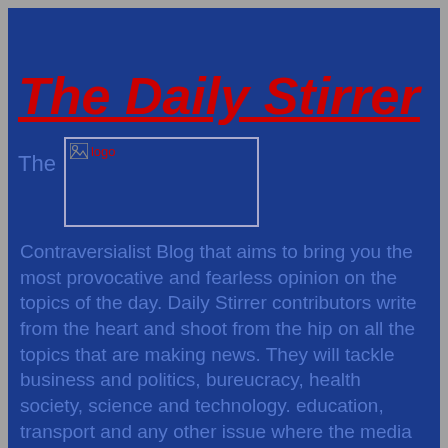The Daily Stirrer
[Figure (logo): Logo image placeholder with broken image icon and text 'logo']
The Contraversialist Blog that aims to bring you the most provocative and fearless opinion on the topics of the day. Daily Stirrer contributors write from the heart and shoot from the hip on all the topics that are making news. They will tackle business and politics, bureucracy, health society, science and technology. education, transport and any other issue where the media conspire with the money men to make sure the difficult questions are not being asked ... Creative Commons: Some rights reserved (non commercial, attrib, no derivs.
All reproductions in whole or in part should link to